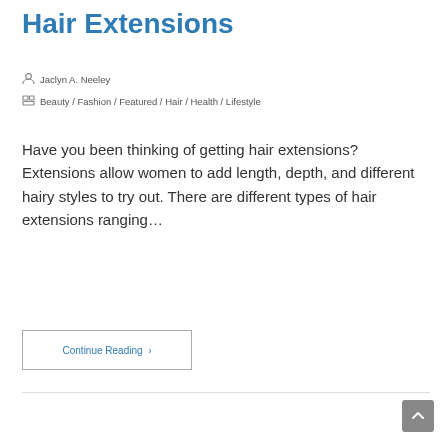Hair Extensions
Jaclyn A. Neeley
Beauty / Fashion / Featured / Hair / Health / Lifestyle
Have you been thinking of getting hair extensions? Extensions allow women to add length, depth, and different hairy styles to try out. There are different types of hair extensions ranging…
Continue Reading ›